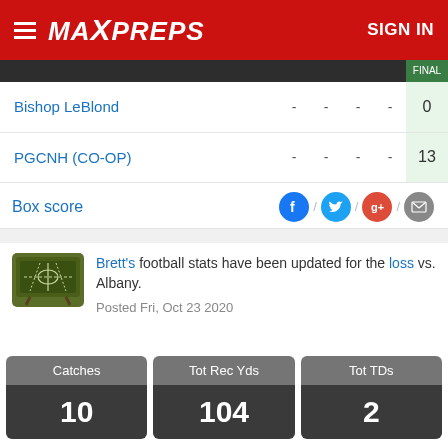MAXPREPS  SIGN IN
| Team |  |  |  |  | FINAL |
| --- | --- | --- | --- | --- | --- |
| Bishop LeBlond | - | - | - | - | 0 |
| PGCNH (CO-OP) | - | - | - | - | 13 |
Box score
Brett's football stats have been updated for the loss vs. Albany.
Posted Fri, Oct 23 2020
| Catches | Tot Rec Yds | Tot TDs |
| --- | --- | --- |
| 10 | 104 | 2 |